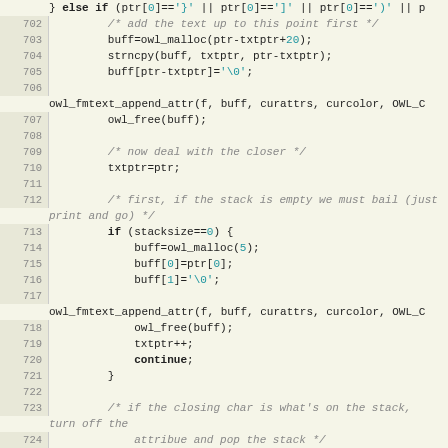[Figure (screenshot): Source code listing in C showing lines 702-729 of a file, with line numbers on the left in a beige gutter and code on the right. Features syntax highlighting with comments in gray italic, numeric/string literals in teal, and bold keywords. The code handles text formatting attributes and bracket matching in an owl text formatting function.]